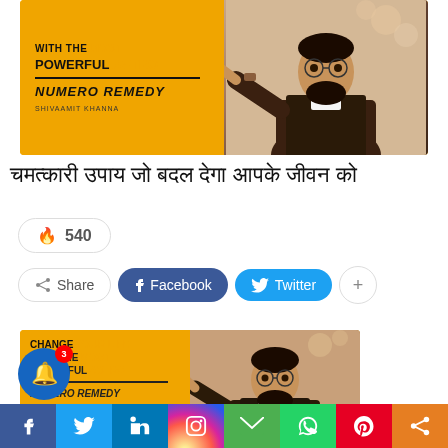[Figure (photo): Promotional banner for astrology book/service: orange background with text 'WITH THE MOST POWERFUL ASTRO NUMERO REMEDY' by SHIVAAMIT KHANNA, with photo of a man pointing at viewer]
चमत्कारी उपाय जो बदल देगा आपके जीवन को
🔥 540
Share  Facebook  Twitter  +
[Figure (photo): Second promotional banner: CHANGE YOUR LIFE WITH THE MOST POWERFUL ASTRO NUMERO REMEDY, with photo of a man with glasses]
Social share bar: Facebook, Twitter, LinkedIn, Instagram, Email, WhatsApp, Pinterest, Share